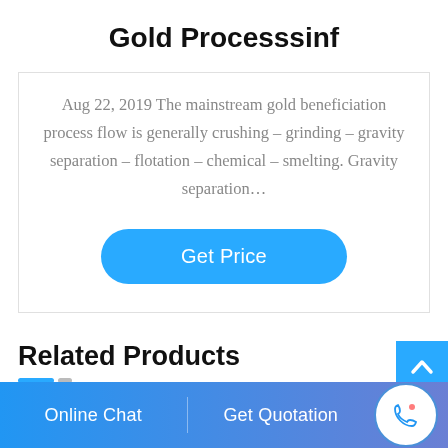Gold Processsinf
Aug 22, 2019 The mainstream gold beneficiation process flow is generally crushing – grinding – gravity separation – flotation – chemical – smelting. Gravity separation…
[Figure (other): Blue rounded pill-shaped button with white text reading 'Get Price']
Related Products
[Figure (other): Blue scroll-to-top button with upward chevron arrow]
Online Chat   Get Quotation